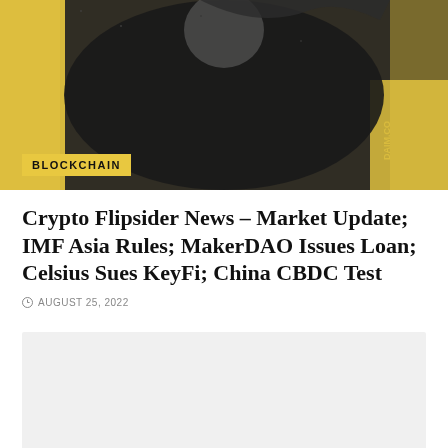[Figure (photo): Hero image with dark silhouetted figure against yellow/gold background with BLOCKCHAIN badge overlay]
Crypto Flipsider News – Market Update; IMF Asia Rules; MakerDAO Issues Loan; Celsius Sues KeyFi; China CBDC Test
AUGUST 25, 2022
[Figure (photo): Secondary image placeholder with light gray background]